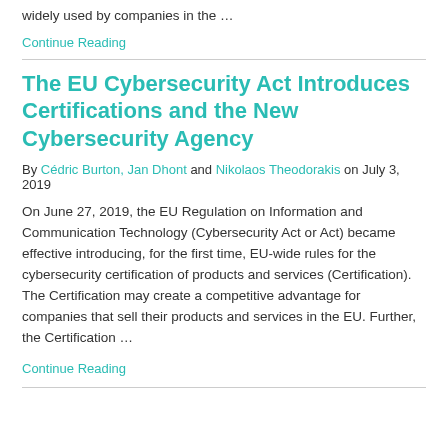widely used by companies in the …
Continue Reading
The EU Cybersecurity Act Introduces Certifications and the New Cybersecurity Agency
By Cédric Burton, Jan Dhont and Nikolaos Theodorakis on July 3, 2019
On June 27, 2019, the EU Regulation on Information and Communication Technology (Cybersecurity Act or Act) became effective introducing, for the first time, EU-wide rules for the cybersecurity certification of products and services (Certification). The Certification may create a competitive advantage for companies that sell their products and services in the EU. Further, the Certification …
Continue Reading